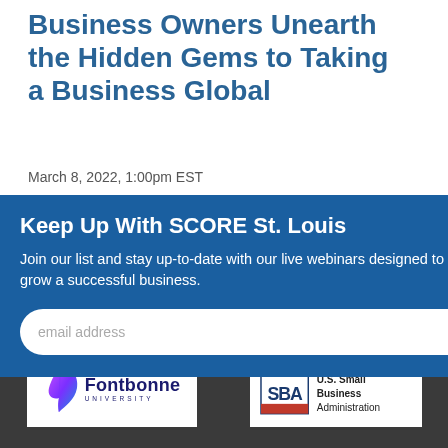Business Owners Unearth the Hidden Gems to Taking a Business Global
March 8, 2022, 1:00pm EST
Join this webinar and learn how going global, using e-
Keep Up With SCORE St. Louis
Join our list and stay up-to-date with our live webinars designed to help you start and grow a successful business.
[Figure (logo): Fontbonne University logo with purple feather icon and bold navy text]
[Figure (logo): SBA - U.S. Small Business Administration logo with 'Powered By' text above]